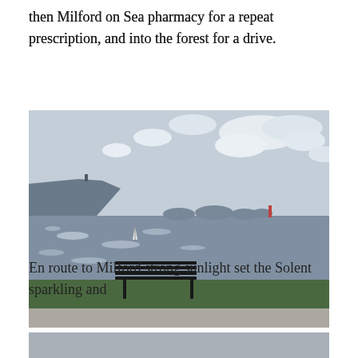then Milford on Sea pharmacy for a repeat prescription, and into the forest for a drive.
[Figure (photo): Coastal scene showing a bench in the foreground on a grassy bank, with the Solent sea sparkling in sunlight, rocky headlands and small islands in the distance, sailboat visible on the water, partly cloudy sky.]
En route to Milford strong sunlight set the Solent sparkling and
[Figure (photo): Partial view of another coastal or outdoor photograph, cropped at bottom of page.]